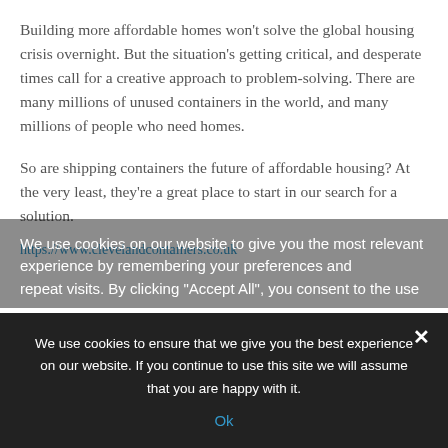Building more affordable homes won't solve the global housing crisis overnight. But the situation's getting critical, and desperate times call for a creative approach to problem-solving. There are many millions of unused containers in the world, and many millions of people who need homes.
So are shipping containers the future of affordable housing? At the very least, they're a great place to start in our search for a solution.
https://www.clevelandcontainers.co.uk
We use cookies on our website to give you the most relevant experience by remembering your preferences and repeat visits. By clicking "Accept All", you consent to the use
We use cookies to ensure that we give you the best experience on our website. If you continue to use this site we will assume that you are happy with it.
Ok